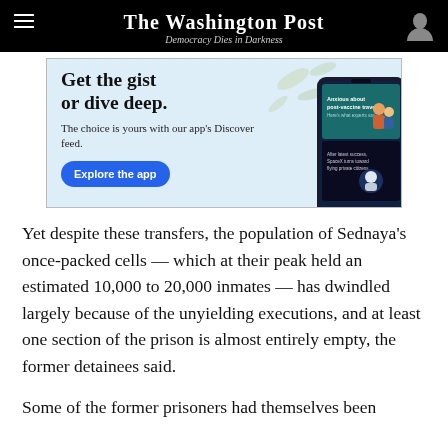The Washington Post
Democracy Dies in Darkness
[Figure (screenshot): Washington Post app advertisement. Text reads: Get the gist or dive deep. The choice is yours with our app's Discover feed. Explore the app button. Shows a phone mockup with app interface.]
Yet despite these transfers, the population of Sednaya's once-packed cells — which at their peak held an estimated 10,000 to 20,000 inmates — has dwindled largely because of the unyielding executions, and at least one section of the prison is almost entirely empty, the former detainees said.
Some of the former prisoners had themselves been